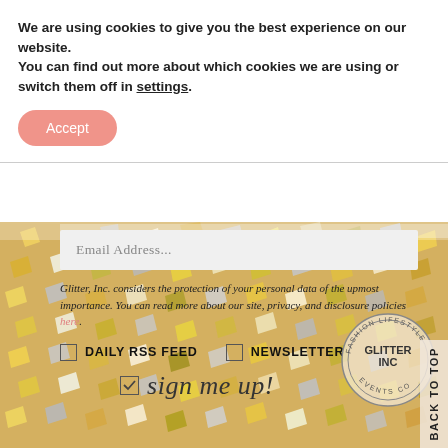We are using cookies to give you the best experience on our website.
You can find out more about which cookies we are using or switch them off in settings.
Accept
[Figure (photo): Colorful gold and silver confetti background used as decorative website section background]
Email Address...
Glitter, Inc. considers the protection of your personal data of the upmost importance. You can read more about our site, privacy, and disclosure policies here.
DAILY RSS FEED  NEWSLETTER
sign me up!
[Figure (logo): Circular stamp logo reading FASHION LIFESTYLE GLITTER INC EVENTS CO]
BACK TO TOP